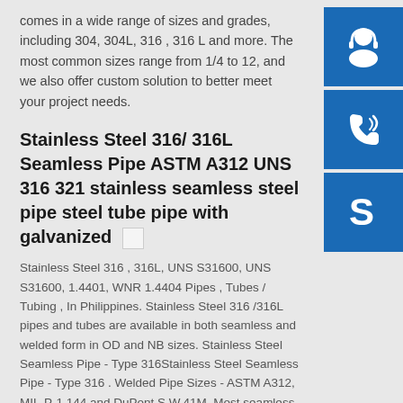comes in a wide range of sizes and grades, including 304, 304L, 316 , 316 L and more. The most common sizes range from 1/4 to 12, and we also offer custom solution to better meet your project needs.
[Figure (illustration): Blue customer support icon (headset silhouette) on blue square button]
[Figure (illustration): Blue phone/call icon on blue square button]
[Figure (illustration): Blue Skype icon (S logo) on blue square button]
Stainless Steel 316/ 316L Seamless Pipe ASTM A312 UNS 316 321 stainless seamless steel pipe steel tube pipe with galvanized
Stainless Steel 316 , 316L, UNS S31600, UNS S31600, 1.4401, WNR 1.4404 Pipes , Tubes / Tubing , In Philippines. Stainless Steel 316 /316L pipes and tubes are available in both seamless and welded form in OD and NB sizes. Stainless Steel Seamless Pipe - Type 316Stainless Steel Seamless Pipe - Type 316 . Welded Pipe Sizes - ASTM A312, MIL-P-1 144 and DuPont S.W.41M. Most seamless pipe sizes are available cold-drawn and hot-finished. Most sizes-through 3/4" O.D. in both seamless and welded-meet Aircraft Quality Specifications